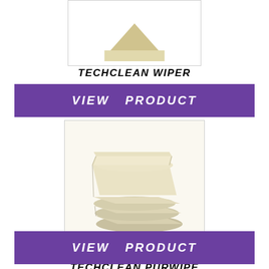[Figure (photo): Partial view of TechClean Wiper product, cut off at top, white background with border]
TECHCLEAN WIPER
VIEW PRODUCT
[Figure (photo): Stack of cream/beige TechClean PurWipe wiper cloths shown from side angle, white background with border]
TECHCLEAN PURWIPE
VIEW PRODUCT